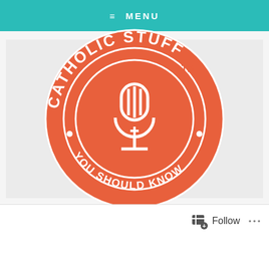≡ MENU
[Figure (logo): Catholic Stuff You Should Know circular logo. Orange circle with white text 'CATHOLIC STUFF' arcing across the top and 'YOU SHOULD KNOW' arcing across the bottom, with a microphone icon in the center and a TM mark.]
Catholic Stuff You Should Know
Follow ...